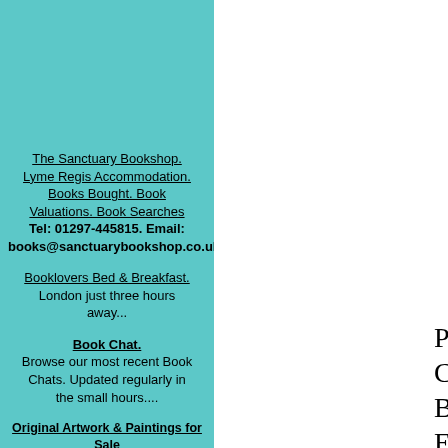The Sanctuary Bookshop. Lyme Regis Accommodation. Books Bought. Book Valuations. Book Searches Tel: 01297-445815. Email: books@sanctuarybookshop.co.uk
Booklovers Bed & Breakfast. London just three hours away...
Book Chat. Browse our most recent Book Chats. Updated regularly in the small hours....
Original Artwork & Paintings for Sale Guy Bourdin, George & Lynne's Bedroom Frolics, Hundertwasser prints. The French Lieutenant's
Posted above is a Christm... British Mount Everes... climber. The... Can anyo...